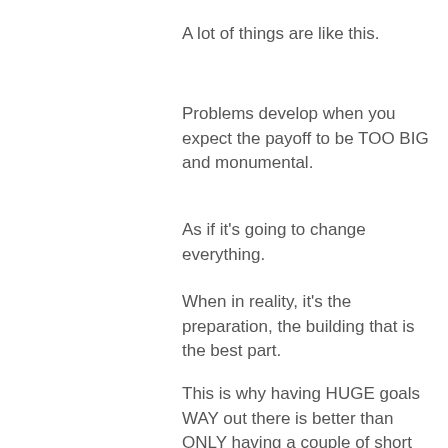A lot of things are like this.
Problems develop when you expect the payoff to be TOO BIG and monumental.
As if it's going to change everything.
When in reality, it's the preparation, the building that is the best part.
This is why having HUGE goals WAY out there is better than ONLY having a couple of short term ones.
Many people fall into the trap of thinking they “only” need that one “thing” and then FINALLY, everything will somehow “click” into place.
Unfortunately, when (or if) it does “click” into place,